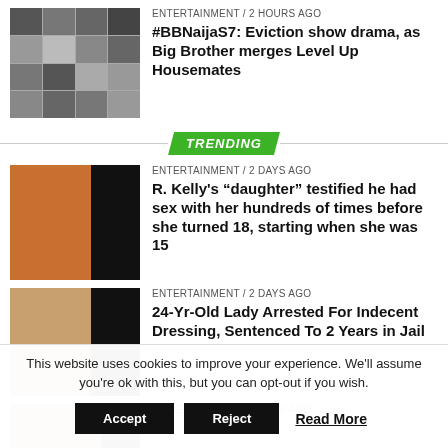[Figure (photo): Grid of 16 celebrity/contestant headshots in 4x4 layout]
ENTERTAINMENT / 2 hours ago
#BBNaijaS7: Eviction show drama, as Big Brother merges Level Up Housemates
TRENDING
[Figure (photo): R. Kelly in orange jumpsuit with person beside him, right half black]
ENTERTAINMENT / 2 days ago
R. Kelly's “daughter” testified he had sex with her hundreds of times before she turned 18, starting when she was 15
[Figure (photo): Lady in black outfit, right half dark]
ENTERTAINMENT / 2 days ago
24-Yr-Old Lady Arrested For Indecent Dressing, Sentenced To 2 Years in Jail
[Figure (photo): Partially visible image at bottom]
ENTERTAINMENT / 2 days ago
This website uses cookies to improve your experience. We'll assume you're ok with this, but you can opt-out if you wish.